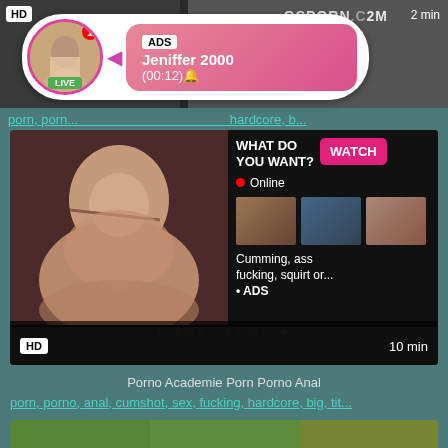[Figure (screenshot): Top video thumbnail strip with HD badge and 2min label, dark background]
[Figure (infographic): Notification bubble with avatar circle, LIVE badge, ADS label, name Jeniffer 2000, time (00:12), pink gradient background]
porn, porn...  hardcore, b...
[Figure (screenshot): Main video block showing adult content thumbnail on left, right panel with WHAT DO YOU WANT? text, WATCH button, Online indicator, three thumbnails, text Cumming, ass fucking, squirt or... • ADS, HD badge, 10 min label]
Porno Academie Porn Porno Anal
porn, porno, anal, cumshot, sex, fucking, hardcore, big, tit...
[Figure (screenshot): Bottom partial video thumbnail strip]